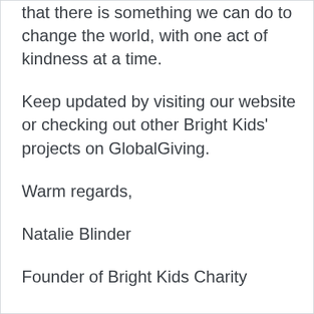that there is something we can do to change the world, with one act of kindness at a time.
Keep updated by visiting our website or checking out other Bright Kids' projects on GlobalGiving.
Warm regards,
Natalie Blinder
Founder of Bright Kids Charity